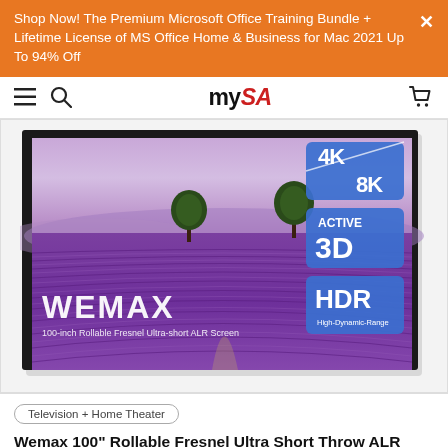Shop Now! The Premium Microsoft Office Training Bundle + Lifetime License of MS Office Home & Business for Mac 2021 Up To 94% Off
[Figure (logo): mySA website navigation bar with hamburger menu, search icon, mySA logo, and cart icon]
[Figure (photo): WEMAX 100-inch Rollable Fresnel Ultra-short ALR Screen product image showing a large projection screen displaying a lavender field landscape with 4K/8K, Active 3D, and HDR badges in the top right corner]
Television + Home Theater
Wemax 100" Rollable Fresnel Ultra Short Throw ALR Screen